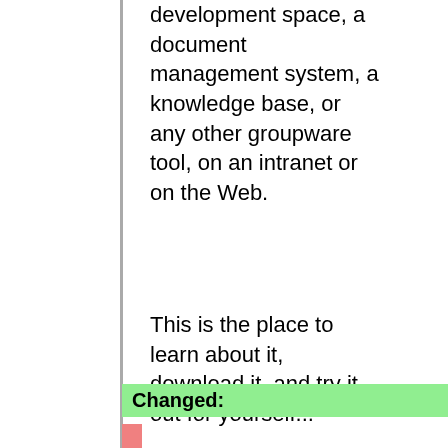development space, a document management system, a knowledge base, or any other groupware tool, on an intranet or on the Web.
This is the place to learn about it, download it, and try it out for yourself...
Changed: